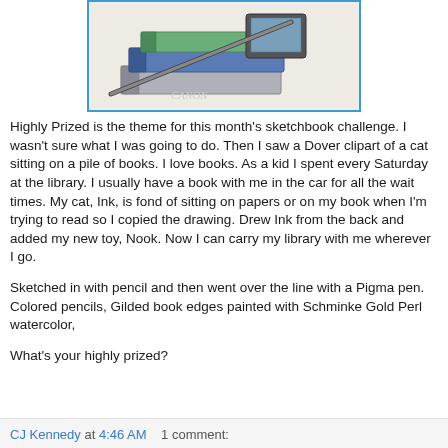[Figure (illustration): A colored pencil sketch of books stacked in a pile with a Nook e-reader device, viewed from above and behind, with a cat implied. Books have blue, green, and other colored spines. A black watercolor/pen tray or pencil is visible. Background is white/light gray.]
Highly Prized is the theme for this month's sketchbook challenge. I wasn't sure what I was going to do. Then I saw a Dover clipart of a cat sitting on a pile of books. I love books. As a kid I spent every Saturday at the library. I usually have a book with me in the car for all the wait times. My cat, Ink, is fond of sitting on papers or on my book when I'm trying to read so I copied the drawing. Drew Ink from the back and added my new toy, Nook. Now I can carry my library with me wherever I go.
Sketched in with pencil and then went over the line with a Pigma pen. Colored pencils, Gilded book edges painted with Schminke Gold Perl watercolor,
What's your highly prized?
CJ Kennedy at 4:46 AM   1 comment: